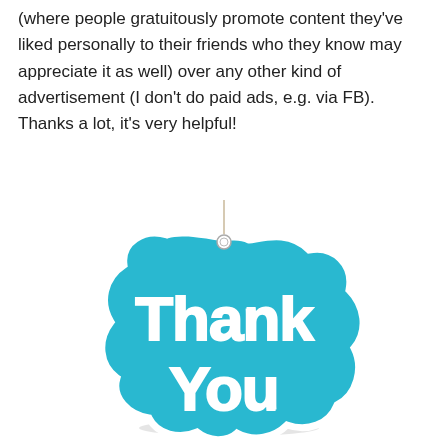(where people gratuitously promote content they've liked personally to their friends who they know may appreciate it as well) over any other kind of advertisement (I don't do paid ads, e.g. via FB). Thanks a lot, it's very helpful!
[Figure (illustration): A turquoise/cyan colored hanging tag shaped sign with rounded bubble letters reading 'Thank You' in white, suspended by a thin string with a small eyelet hole at the top.]